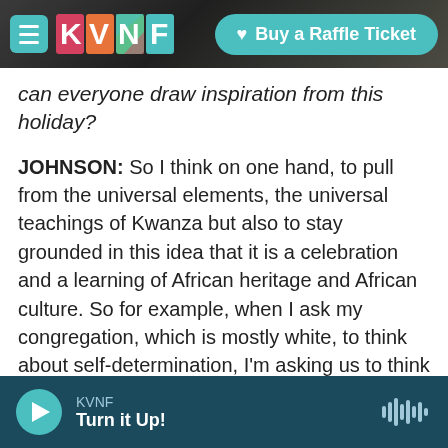KVNF | Buy a Raffle Ticket
can everyone draw inspiration from this holiday?
JOHNSON: So I think on one hand, to pull from the universal elements, the universal teachings of Kwanza but also to stay grounded in this idea that it is a celebration and a learning of African heritage and African culture. So for example, when I ask my congregation, which is mostly white, to think about self-determination, I'm asking us to think about how we can support Black and brown communities in their self-determination. When we think about cooperative economics and collective work, I'm asking people to think about how we can be in
KVNF Turn it Up!